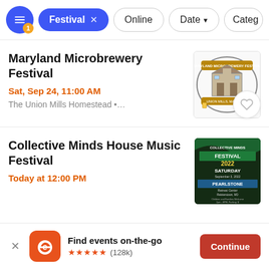[Figure (screenshot): Filter bar with active 'Festival' chip, 'Online', 'Date', and 'Catego' filter buttons]
Maryland Microbrewery Festival
Sat, Sep 24, 11:00 AM
The Union Mills Homestead •…
[Figure (logo): Maryland Microbrewery Festival circular logo with building illustration]
Collective Minds House Music Festival
Today at 12:00 PM
[Figure (photo): Collective Minds Festival 2022 Saturday September 3 at Pearlstone Retreat Center Reisterstown MD event poster]
Find events on-the-go ★★★★★ (128k)
Continue